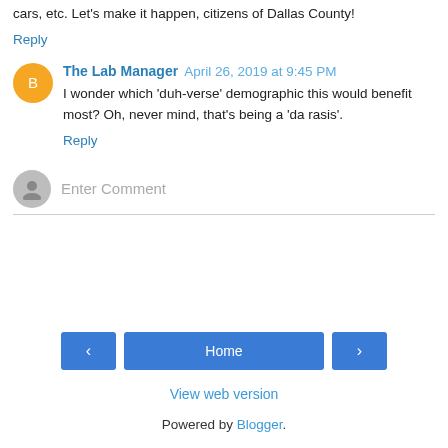cars, etc. Let's make it happen, citizens of Dallas County!
Reply
The Lab Manager  April 26, 2019 at 9:45 PM
I wonder which 'duh-verse' demographic this would benefit most? Oh, never mind, that's being a 'da rasis'.
Reply
Enter Comment
Home
View web version
Powered by Blogger.